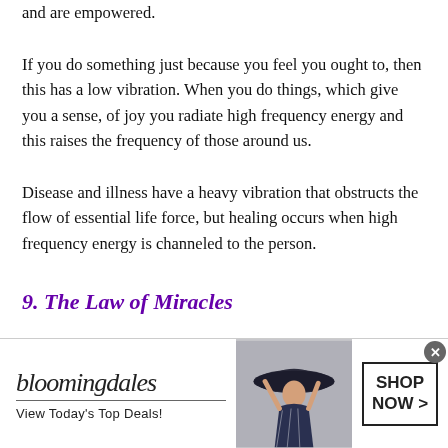and are empowered.
If you do something just because you feel you ought to, then this has a low vibration. When you do things, which give you a sense, of joy you radiate high frequency energy and this raises the frequency of those around us.
Disease and illness have a heavy vibration that obstructs the flow of essential life force, but healing occurs when high frequency energy is channeled to the person.
9. The Law of Miracles
[Figure (infographic): Bloomingdale's advertisement banner with logo, 'View Today's Top Deals!' tagline, woman with hat photo, and 'SHOP NOW >' call-to-action button. Has close button (x) in top right.]